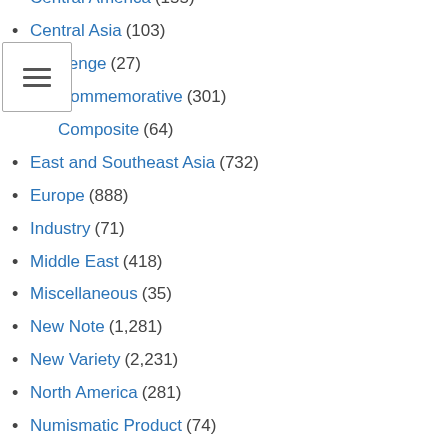Central America (155)
Central Asia (103)
Challenge (27)
Commemorative (301)
Composite (64)
East and Southeast Asia (732)
Europe (888)
Industry (71)
Middle East (418)
Miscellaneous (35)
New Note (1,281)
New Variety (2,231)
North America (281)
Numismatic Product (74)
Oceania (195)
Polymer (676)
South America (486)
South Asia (483)